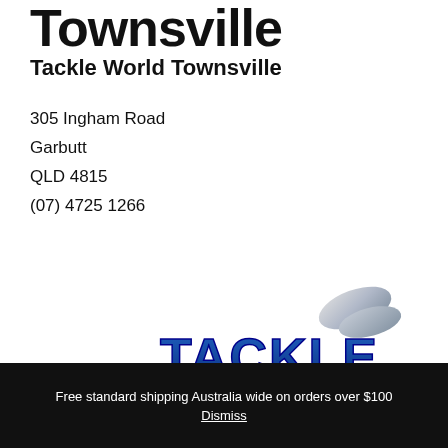Townsville
Tackle World Townsville
305 Ingham Road
Garbutt
QLD 4815
(07) 4725 1266
[Figure (logo): Tackle World logo with blue and silver text and a fish graphic]
Free standard shipping Australia wide on orders over $100
Dismiss